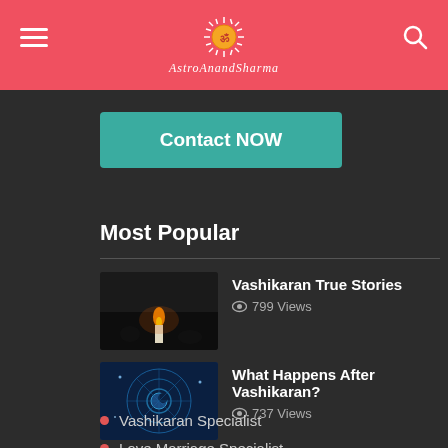AstroAnandSharma
Contact NOW
Most Popular
Vashikaran True Stories – 799 Views
What Happens After Vashikaran? – 737 Views
Best Astrological Tips To Live A Happy Love Life – 570 Views
Vashikaran Specialist
Love Marriage Specialist